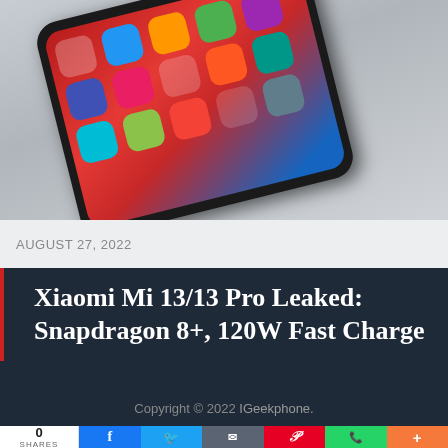[Figure (photo): A Xiaomi smartphone with a red decorative home screen displaying app icons, angled/tilted on a light gray background.]
AUGUST 27, 2022
Xiaomi Mi 13/13 Pro Leaked: Snapdragon 8+, 120W Fast Charge
Copyright © 2022 IGeekphone.
0 SHARES